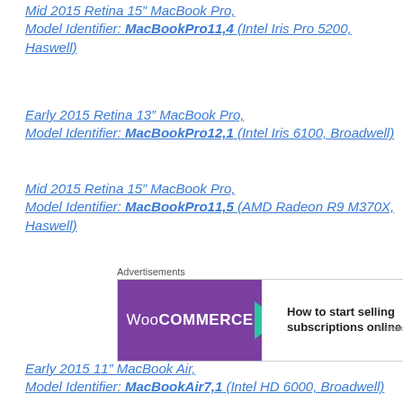Mid 2015 Retina 15″ MacBook Pro, Model Identifier: MacBookPro11,4 (Intel Iris Pro 5200, Haswell)
Early 2015 Retina 13″ MacBook Pro, Model Identifier: MacBookPro12,1 (Intel Iris 6100, Broadwell)
Mid 2015 Retina 15″ MacBook Pro, Model Identifier: MacBookPro11,5 (AMD Radeon R9 M370X, Haswell)
[Figure (other): WooCommerce advertisement banner: How to start selling subscriptions online]
Early 2015 11″ MacBook Air, Model Identifier: MacBookAir7,1 (Intel HD 6000, Broadwell)